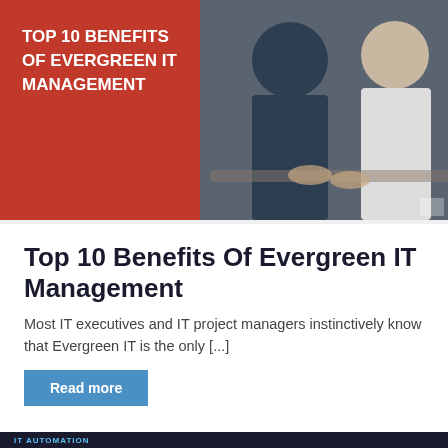[Figure (photo): Hero image showing two professionals in a meeting, overlaid on left with red background and white text reading 'TOP 10 BENEFITS OF EVERGREEN IT MANAGEMENT']
Top 10 Benefits Of Evergreen IT Management
Most IT executives and IT project managers instinctively know that Evergreen IT is the only [...]
Read more
[Figure (photo): Second card showing a partial image of a gnome/elf figure with a red hat, dark background, with text 'IT AUTOMATION' tag and title 'It's Make Or Break Decision Time Re: Windows 7 — Here Are Your Options']